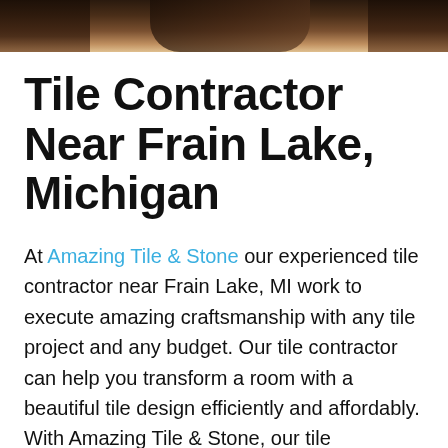[Figure (photo): Partial view of a tiled or wood surface, dark brown tones, cropped at top of page]
Tile Contractor Near Frain Lake, Michigan
At Amazing Tile & Stone our experienced tile contractor near Frain Lake, MI work to execute amazing craftsmanship with any tile project and any budget. Our tile contractor can help you transform a room with a beautiful tile design efficiently and affordably. With Amazing Tile & Stone, our tile contractor can add a touch of modernize any room such as kitchen, bathroom, and flooring for the whole house.
With any tile project, our tile contractor near Frain Lake, Michigan can offer customization can come in